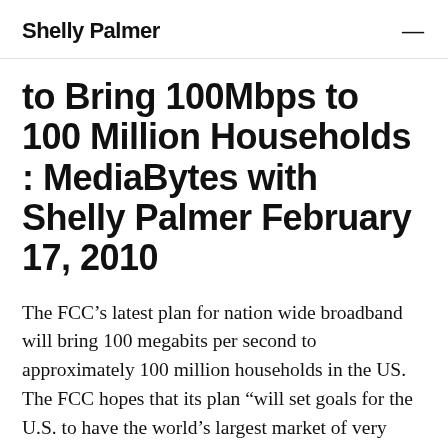Shelly Palmer
to Bring 100Mbps to 100 Million Households : MediaBytes with Shelly Palmer February 17, 2010
The FCC’s latest plan for nation wide broadband will bring 100 megabits per second to approximately 100 million households in the US. The FCC hopes that its plan “will set goals for the U.S. to have the world’s largest market of very high-speed broadband users.” HBO is readying its first move into online video. HBO